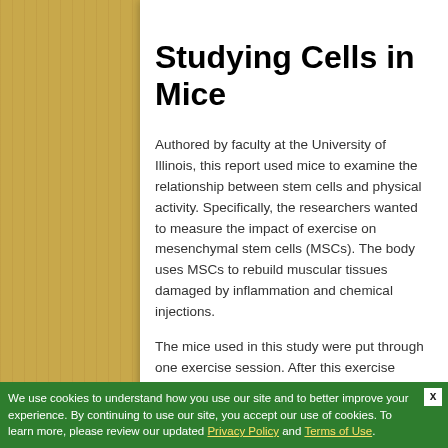Studying Cells in Mice
Authored by faculty at the University of Illinois, this report used mice to examine the relationship between stem cells and physical activity. Specifically, the researchers wanted to measure the impact of exercise on mesenchymal stem cells (MSCs). The body uses MSCs to rebuild muscular tissues damaged by inflammation and chemical injections.
The mice used in this study were put through one exercise session. After this exercise period had ended, the researchers then pinpointed the MSC cells inside the mice's bodies. To keep better track of these cells, the MSCs were dyed with a fluorescent marker. The research team then injected these marked MSCs into another set of mice, and studied their interactions with other cells used for muscle creation.
We use cookies to understand how you use our site and to better improve your experience. By continuing to use our site, you accept our use of cookies. To learn more, please review our updated Privacy Policy and Terms of Use.